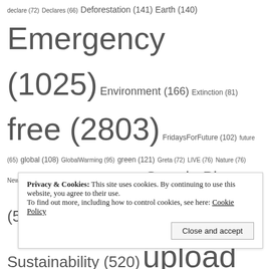declare (72) Declares (66) Deforestation (141) Earth (140) Emergency (1025) Environment (166) Extinction (81) free (2803) FridaysForFuture (102) future (65) global (108) GlobalWarming (95) green (121) Greta (72) LIVE (76) Nature (76) News (93) Part (81) plasticfree (76) Rebellion (72) SavethePlanet (584) sharing (2800) Sustainability (520) upload (2799) Video (2806) video phone (2799) World (115) zerowaste (75)
SUBSCRIBE TO YNFR BLOG VIA EMAIL
Privacy & Cookies: This site uses cookies. By continuing to use this website, you agree to their use. To find out more, including how to control cookies, see here: Cookie Policy